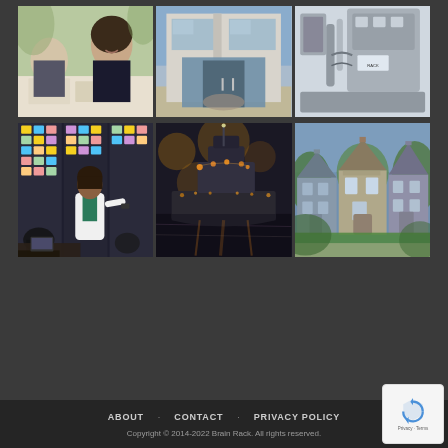[Figure (photo): Top row of three photos: left - business meeting with smiling woman in black jacket; center - modern building entrance with glass doors; right - industrial machinery/equipment]
[Figure (photo): Bottom row of three photos: left - woman presenting at colorful sticky-note board in dark room; center - cargo ship lit up at night on water; right - Victorian houses/painted ladies neighborhood]
ABOUT   CONTACT   PRIVACY POLICY
Copyright © 2014-2022 Brain Rack. All rights reserved.